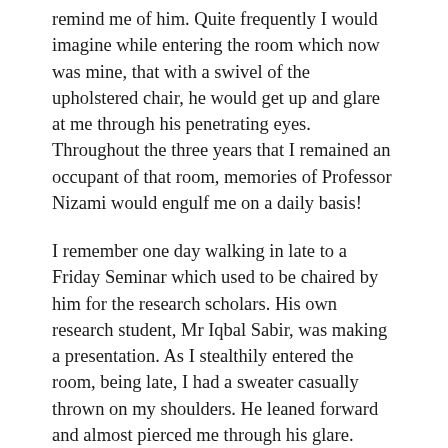remind me of him. Quite frequently I would imagine while entering the room which now was mine, that with a swivel of the upholstered chair, he would get up and glare at me through his penetrating eyes. Throughout the three years that I remained an occupant of that room, memories of Professor Nizami would engulf me on a daily basis!
I remember one day walking in late to a Friday Seminar which used to be chaired by him for the research scholars. His own research student, Mr Iqbal Sabir, was making a presentation. As I stealthily entered the room, being late, I had a sweater casually thrown on my shoulders. He leaned forward and almost pierced me through his glare. When the lecture was over and I, to make matters up, raised my hand to ask a question, Nizami Sahib with a gesture of his hand brushed aside Iqbal Sabir and shot a counter question